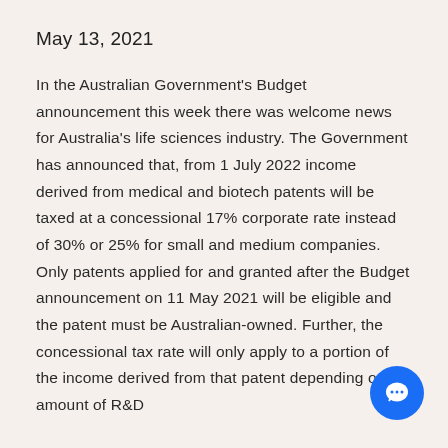May 13, 2021
In the Australian Government's Budget announcement this week there was welcome news for Australia's life sciences industry. The Government has announced that, from 1 July 2022 income derived from medical and biotech patents will be taxed at a concessional 17% corporate rate instead of 30% or 25% for small and medium companies.
Only patents applied for and granted after the Budget announcement on 11 May 2021 will be eligible and the patent must be Australian-owned. Further, the concessional tax rate will only apply to a portion of the income derived from that patent depending on the amount of R&D...